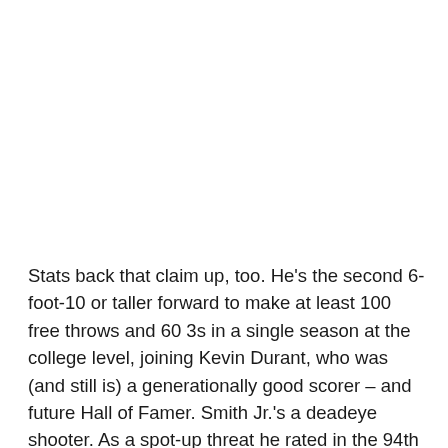Stats back that claim up, too. He's the second 6-foot-10 or taller forward to make at least 100 free throws and 60 3s in a single season at the college level, joining Kevin Durant, who was (and still is) a generationally good scorer – and future Hall of Famer. Smith Jr.'s a deadeye shooter. As a spot-up threat he rated in the 94th percentile last season according to Synergy data. He was well above average as a catch-and-shoot scorer as well, rating in the 85th percentile.